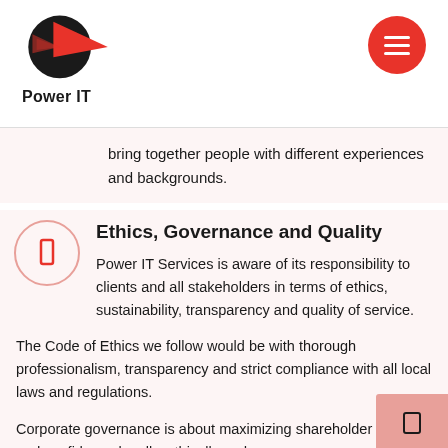Power IT
bring together people with different experiences and backgrounds.
Ethics, Governance and Quality
Power IT Services is aware of its responsibility to clients and all stakeholders in terms of ethics, sustainability, transparency and quality of service.
The Code of Ethics we follow would be with thorough professionalism, transparency and strict compliance with all local laws and regulations.
Corporate governance is about maximizing shareholder value and confidence legally, ethically and on a